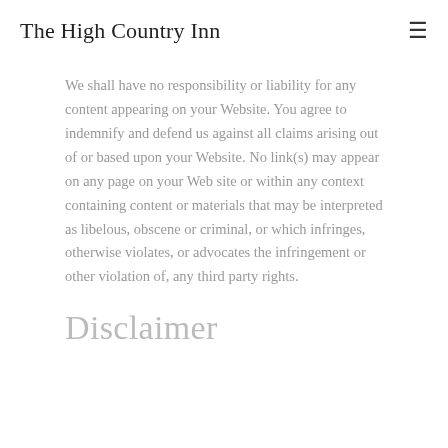The High Country Inn
We shall have no responsibility or liability for any content appearing on your Website. You agree to indemnify and defend us against all claims arising out of or based upon your Website. No link(s) may appear on any page on your Web site or within any context containing content or materials that may be interpreted as libelous, obscene or criminal, or which infringes, otherwise violates, or advocates the infringement or other violation of, any third party rights.
Disclaimer